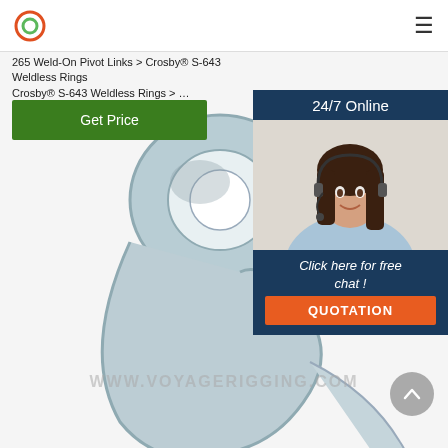265 Weld-On Pivot Links > Crosby® S-643 Weldless Rings
Crosby® S-643 Weldless Rings > ...
Get Price
[Figure (photo): Close-up product photo of a Crosby S-643 weldless ring, galvanized steel, showing the circular eye and hook shape, with watermark www.voyagerigging.com]
[Figure (photo): Sidebar chat widget with a photo of a woman wearing a headset, text '24/7 Online', 'Click here for free chat!', and an orange QUOTATION button]